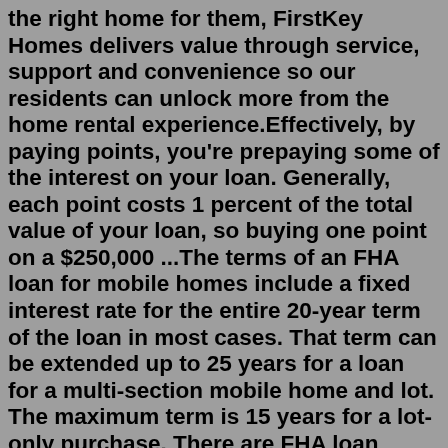the right home for them, FirstKey Homes delivers value through service, support and convenience so our residents can unlock more from the home rental experience.Effectively, by paying points, you're prepaying some of the interest on your loan. Generally, each point costs 1 percent of the total value of your loan, so buying one point on a $250,000 ...The terms of an FHA loan for mobile homes include a fixed interest rate for the entire 20-year term of the loan in most cases. That term can be extended up to 25 years for a loan for a multi-section mobile home and lot. The maximum term is 15 years for a lot-only purchase. There are FHA loan maximums for mobile home loans, up to just under $93 ...Depending on when you signed your lease, your utility requirements may differ. Please refer to section 10 of your lease or reach out to your Property Manager if you are unsure. we'll help youIt's our job to help protect your business. Commercial risk management and insurance services that safeguard your bottom line. Learn More. Learn more about our specialized